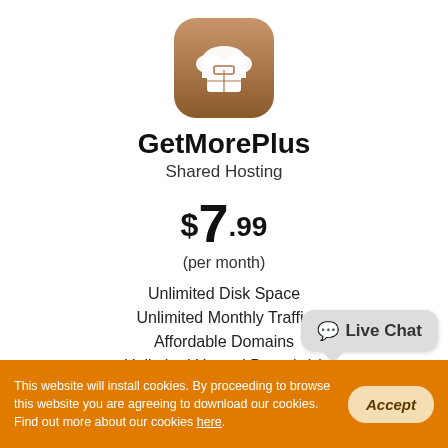[Figure (logo): App icon with brown/orange rounded square background, white cloud with briefcase icon]
GetMorePlus
Shared Hosting
$7.99
(per month)
Unlimited Disk Space
Unlimited Monthly Traffic
Affordable Domains
Unlimited Hosted Domain(s)
Unlimited E-mail Accounts
30-day free trial
[Figure (illustration): Live Chat speech bubble widget]
This website will install cookies. By proceeding to browse this website you are agreeing to download our cookies. Find out more about our cookies here.